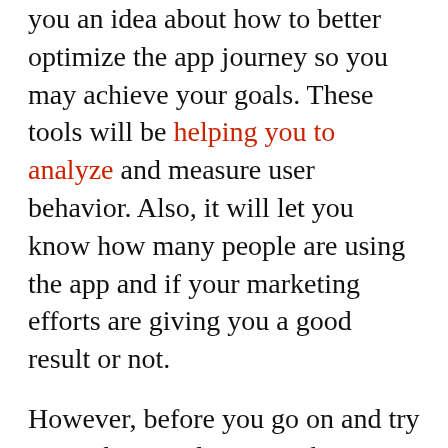you an idea about how to better optimize the app journey so you may achieve your goals. These tools will be helping you to analyze and measure user behavior. Also, it will let you know how many people are using the app and if your marketing efforts are giving you a good result or not.
However, before you go on and try using these tools, just make sure to have a stable internet connection first. This is because a disrupted connection will be the last thing you will like to encounter while checking the analytics. Lucky for me, my friend introduced me to different Optimum packages. I can now easily monitor